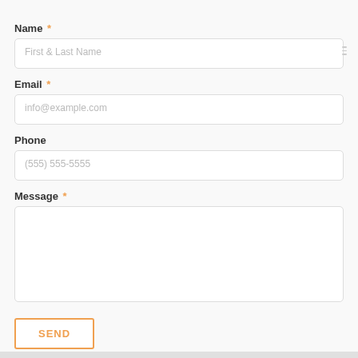Name *
First & Last Name
Email *
info@example.com
Phone
(555) 555-5555
Message *
SEND